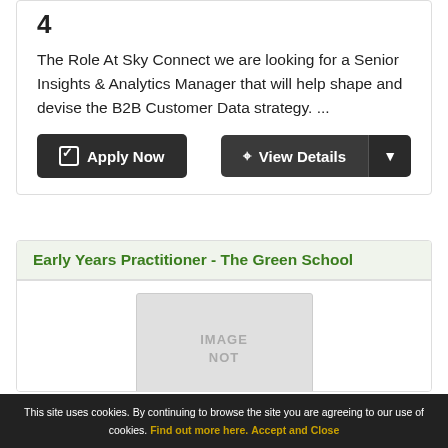4
The Role At Sky Connect we are looking for a Senior Insights & Analytics Manager that will help shape and devise the B2B Customer Data strategy. ...
Apply Now
View Details
Early Years Practitioner - The Green School
[Figure (photo): IMAGE NOT placeholder box for job listing]
This site uses cookies. By continuing to browse the site you are agreeing to our use of cookies. Find out more here. Accept and Close